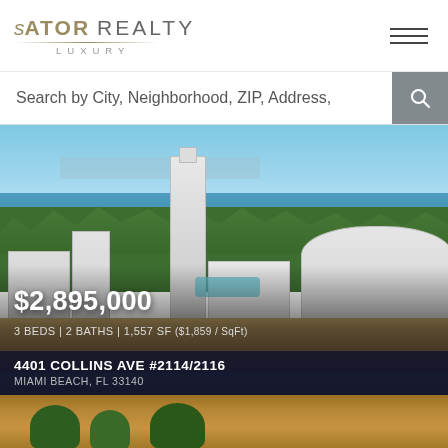[Figure (logo): Sator Realty Luxury logo with gold text and decorative line]
Search by City, Neighborhood, ZIP, Address,
[Figure (photo): Aerial view of Miami Beach with tall condominium tower, curved hotel building, lush greenery, waterways, and beach. Price and property details overlaid.]
$2,895,000
3 BEDS | 2 BATHS | 1,557 SF ($1,859 / SqFt)
4401 COLLINS AVE #2114/2116
MIAMI BEACH, FL 33140